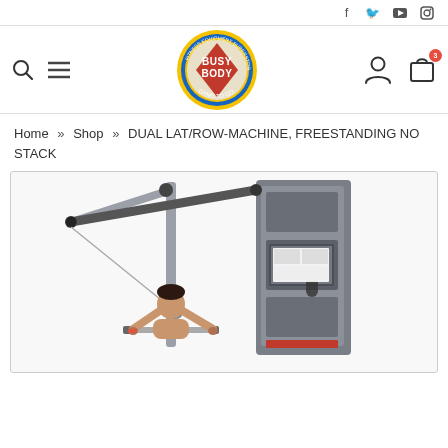Social media icons: Facebook, Twitter, YouTube, Instagram
[Figure (logo): Busy Body Gyms To Go circular logo with red diamond and yellow/blue ring]
Search icon, hamburger menu icon on left; person icon and shopping bag icon on right
Home » Shop » DUAL LAT/ROW-MACHINE, FREESTANDING NO STACK
[Figure (photo): Man performing lat pulldown on a Busy Body freestanding dual lat/row machine, no weight stack. Machine is silver/grey with black padding. The cable system and lat bar attachment are visible.]